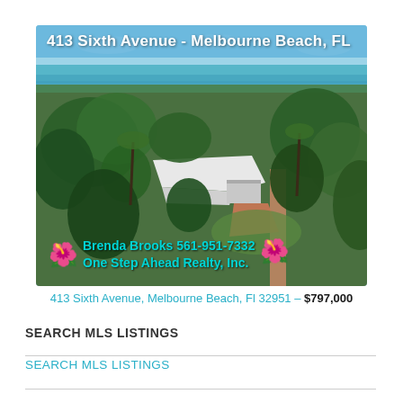[Figure (photo): Aerial drone photo of a single-family home at 413 Sixth Avenue, Melbourne Beach, FL. White roof visible among lush green tropical trees. Ocean/lagoon visible in the background. Address overlay at top reads '413 Sixth Avenue - Melbourne Beach, FL'. Agent overlay at bottom reads 'Brenda Brooks 561-951-7332 One Step Ahead Realty, Inc.' with pink hibiscus flower emojis.]
413 Sixth Avenue, Melbourne Beach, Fl 32951 – $797,000
SEARCH MLS LISTINGS
SEARCH MLS LISTINGS